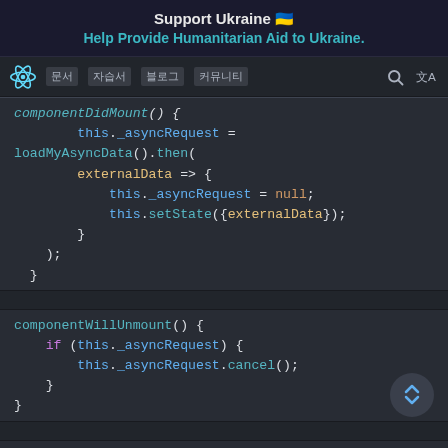Support Ukraine 🇺🇦
Help Provide Humanitarian Aid to Ukraine.
[Figure (screenshot): React documentation website navigation bar with logo and menu links]
[Figure (screenshot): Code editor screenshot showing React component lifecycle code: componentDidMount with _asyncRequest = loadMyAsyncData().then(externalData => { this._asyncRequest = null; this.setState({externalData}); }); componentWillUnmount() { if (this._asyncRequest) { this._asyncRequest.cancel(); } } render() {]
componentDidMount() {
    this._asyncRequest =
loadMyAsyncData().then(
        externalData => {
            this._asyncRequest = null;
            this.setState({externalData});
        }
    );
}

componentWillUnmount() {
    if (this._asyncRequest) {
        this._asyncRequest.cancel();
    }
}

render() {